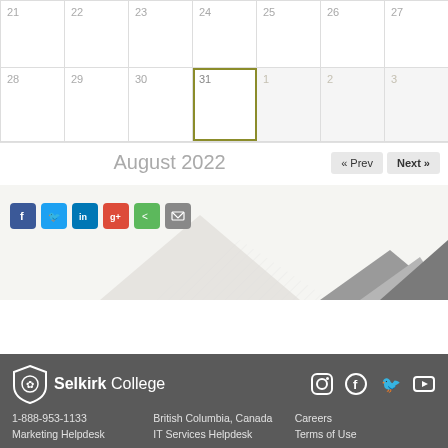[Figure (other): Calendar grid showing partial month view. Row 1: dates 21-27. Row 2: dates 28-31 (current month) and 1-3 (next month, grayed). Date 31 is highlighted with olive/yellow-green border (today). Navigation below shows August 2022 with Prev/Next buttons.]
August 2022
[Figure (other): Social media sharing buttons: Facebook (blue), Twitter (light blue), LinkedIn (dark blue), Google+ (red), Share (green), Email (gray). Mountain silhouette decoration in background.]
[Figure (illustration): Mountain silhouette decoration with diagonal line pattern, light gray on cream background. Dark mountain peaks on right.]
Selkirk College | 1-888-953-1133 | Marketing Helpdesk | British Columbia, Canada | Careers | IT Services Helpdesk | Terms of Use